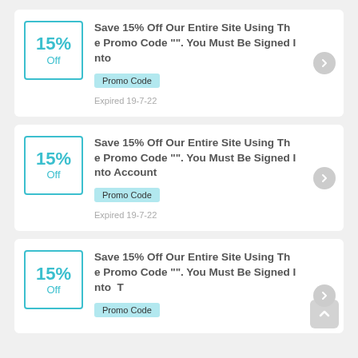[Figure (other): Coupon card 1: 15% Off badge, title 'Save 15% Off Our Entire Site Using The Promo Code "". You Must Be Signed Into', Promo Code tag, Expired 19-7-22]
[Figure (other): Coupon card 2: 15% Off badge, title 'Save 15% Off Our Entire Site Using The Promo Code "". You Must Be Signed Into Account', Promo Code tag, Expired 19-7-22]
[Figure (other): Coupon card 3 (partial): 15% Off badge, title 'Save 15% Off Our Entire Site Using The Promo Code "". You Must Be Signed Into  T', Promo Code tag (partial)]